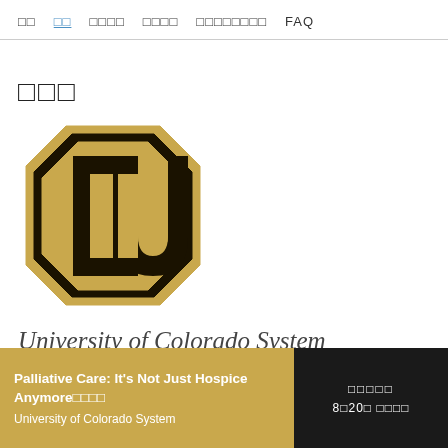□□  □□  □□□□  □□□□  □□□□□□□□  FAQ
□□□
[Figure (logo): University of Colorado (CU) logo — interlocked C and U letters in gold and black on white background, octagon-shaped border]
University of Colorado System
Palliative Care: It's Not Just Hospice Anymore□□□□  University of Colorado System
□□□□□  8□20□ □□□□